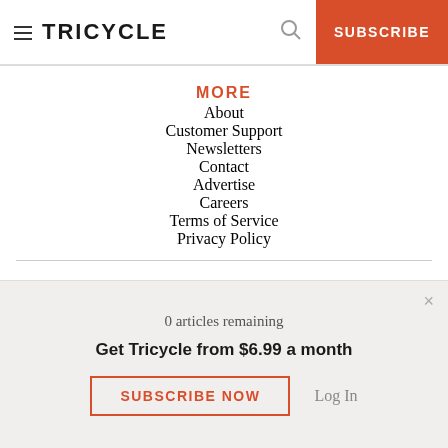TRICYCLE | SUBSCRIBE
MORE
About
Customer Support
Newsletters
Contact
Advertise
Careers
Terms of Service
Privacy Policy
TRICYCLE
0 articles remaining
Get Tricycle from $6.99 a month
SUBSCRIBE NOW   Log In